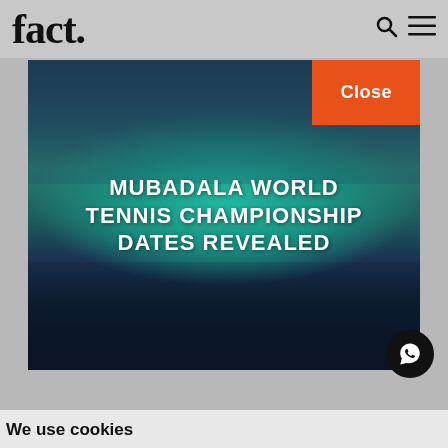fact.
[Figure (photo): Aerial view of a tennis stadium with teal court, packed crowd in blue seats, with overlaid text 'MUBADALA WORLD TENNIS CHAMPIONSHIP DATES REVEALED']
MUBADALA WORLD TENNIS CHAMPIONSHIP DATES REVEALED
© 2022 All rights reserved Developed by FACT ME FZ LLC
We use cookies